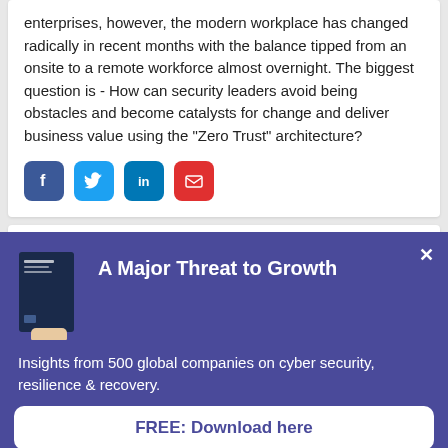enterprises, however, the modern workplace has changed radically in recent months with the balance tipped from an onsite to a remote workforce almost overnight. The biggest question is - How can security leaders avoid being obstacles and become catalysts for change and deliver business value using the "Zero Trust" architecture?
[Figure (other): Social share buttons: Facebook (blue), Twitter (light blue), LinkedIn (dark blue), Email (red)]
Responding to Australia's new critical...
A Major Threat to Growth
[Figure (illustration): Hand holding a dark blue book/report with text on cover]
Insights from 500 global companies on cyber security, resilience & recovery.
FREE: Download here